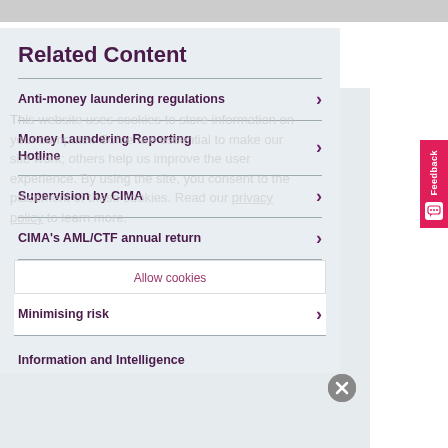Related Content
Anti-money laundering regulations
Money Laundering Reporting Hotline
Supervision by CIMA
CIMA's AML/CTF annual return
Minimising risk
Allow cookies
Information and Intelligence